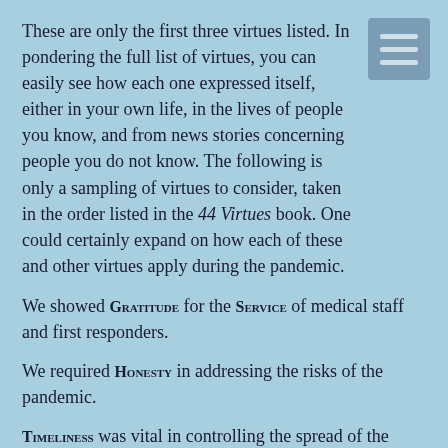These are only the first three virtues listed. In pondering the full list of virtues, you can easily see how each one expressed itself, either in your own life, in the lives of people you know, and from news stories concerning people you do not know. The following is only a sampling of virtues to consider, taken in the order listed in the 44 Virtues book. One could certainly expand on how each of these and other virtues apply during the pandemic.
We showed Gratitude for the Service of medical staff and first responders.
We required Honesty in addressing the risks of the pandemic.
Timeliness was vital in controlling the spread of the virus.
Practicing Self-discipline was essential to protect oneself and others.
Those in challenging financial circumstances showed Determination and Courage to make ends meet. Many learned lessons of Humility.